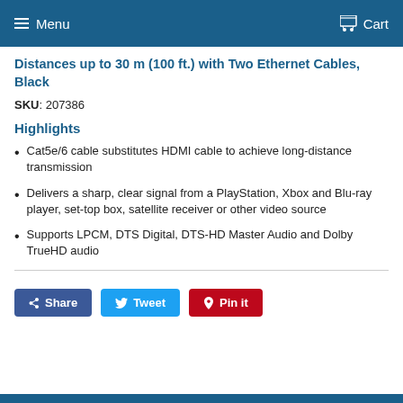Menu  Cart
Distances up to 30 m (100 ft.) with Two Ethernet Cables, Black
SKU: 207386
Highlights
Cat5e/6 cable substitutes HDMI cable to achieve long-distance transmission
Delivers a sharp, clear signal from a PlayStation, Xbox and Blu-ray player, set-top box, satellite receiver or other video source
Supports LPCM, DTS Digital, DTS-HD Master Audio and Dolby TrueHD audio
Share  Tweet  Pin it